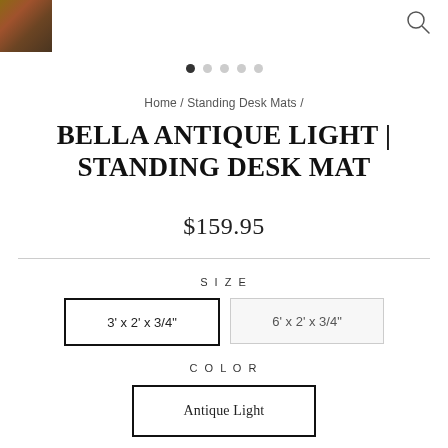[Figure (photo): Small thumbnail of a wooden desk mat surface in the top left corner]
[Figure (illustration): Magnifying glass / search icon in the top right corner]
[Figure (other): Image carousel dots indicator: 5 dots with first dot filled/active]
Home / Standing Desk Mats /
BELLA ANTIQUE LIGHT | STANDING DESK MAT
$159.95
SIZE
3' x 2' x 3/4"
6' x 2' x 3/4"
COLOR
Antique Light